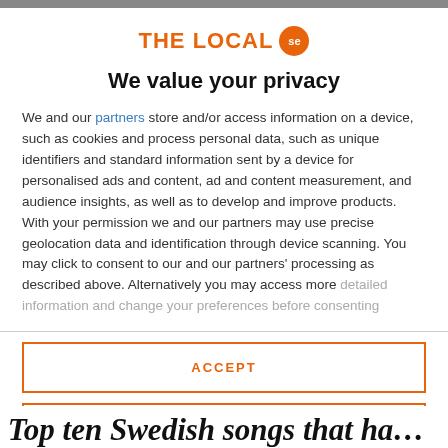[Figure (logo): The Local .se logo with orange text and orange circular badge with 'se']
We value your privacy
We and our partners store and/or access information on a device, such as cookies and process personal data, such as unique identifiers and standard information sent by a device for personalised ads and content, ad and content measurement, and audience insights, as well as to develop and improve products. With your permission we and our partners may use precise geolocation data and identification through device scanning. You may click to consent to our and our partners' processing as described above. Alternatively you may access more detailed information and change your preferences before consenting
ACCEPT
MORE OPTIONS
Top ten Swedish songs that ha…